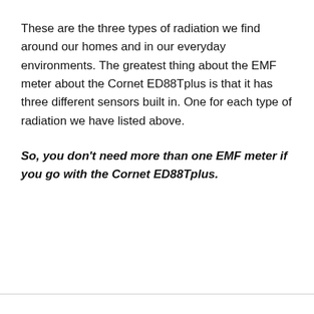These are the three types of radiation we find around our homes and in our everyday environments. The greatest thing about the EMF meter about the Cornet ED88Tplus is that it has three different sensors built in. One for each type of radiation we have listed above.
So, you don't need more than one EMF meter if you go with the Cornet ED88Tplus.